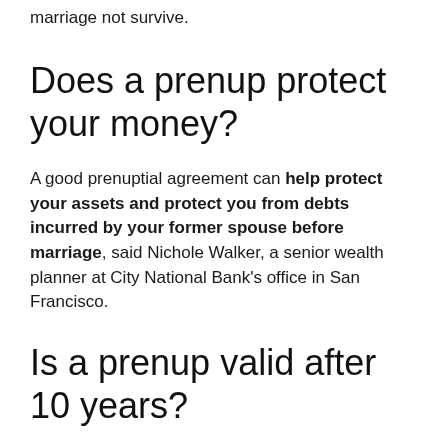marriage not survive.
Does a prenup protect your money?
A good prenuptial agreement can help protect your assets and protect you from debts incurred by your former spouse before marriage, said Nichole Walker, a senior wealth planner at City National Bank's office in San Francisco.
Is a prenup valid after 10 years?
The first states that the prenuptial agreement will no longer be valid after